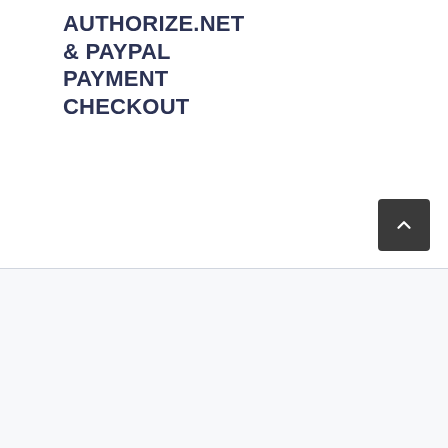AUTHORIZE.NET & PAYPAL PAYMENT CHECKOUT
© 2021 Illuminators Educational Foundation | All Rights Reserved | Powered by VIDA Marketing Communications